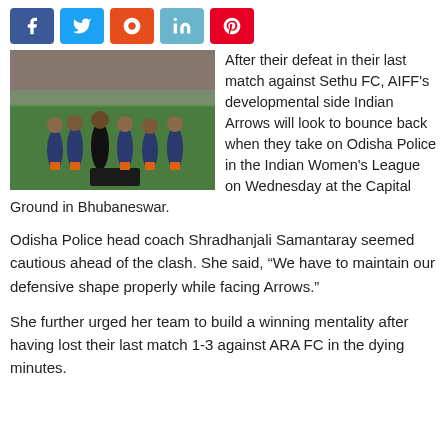[Figure (infographic): Social sharing buttons: Facebook (blue), Twitter (light blue), StumbleUpon (red-orange), LinkedIn (light blue), Pinterest (red)]
[Figure (photo): Women's football team players gathered on a green pitch, wearing dark blue jerseys with orange socks, appearing to have a team talk; stadium seating visible in background]
After their defeat in their last match against Sethu FC, AIFF's developmental side Indian Arrows will look to bounce back when they take on Odisha Police in the Indian Women's League on Wednesday at the Capital Ground in Bhubaneswar.
Odisha Police head coach Shradhanjali Samantaray seemed cautious ahead of the clash. She said, “We have to maintain our defensive shape properly while facing Arrows.”
She further urged her team to build a winning mentality after having lost their last match 1-3 against ARA FC in the dying minutes.